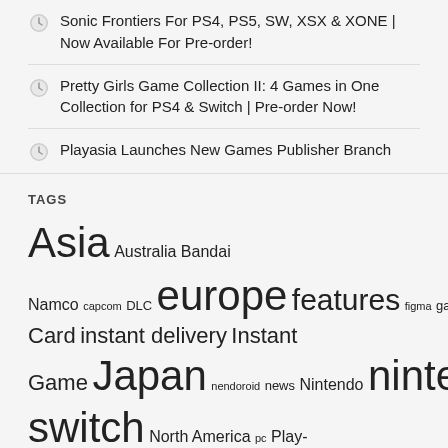Sonic Frontiers For PS4, PS5, SW, XSX & XONE | Now Available For Pre-order!
Pretty Girls Game Collection II: 4 Games in One Collection for PS4 & Switch | Pre-order Now!
Playasia Launches New Games Publisher Branch
TAGS
Asia Australia Bandai Namco capcom DLC europe features figma game gameplay GoDigital Instant Card instant delivery Instant Game Japan nendoroid news Nintendo nintendo switch North America pc Play-Asia.com PlayStation Playstation 4 PlayStation 5 Pre-